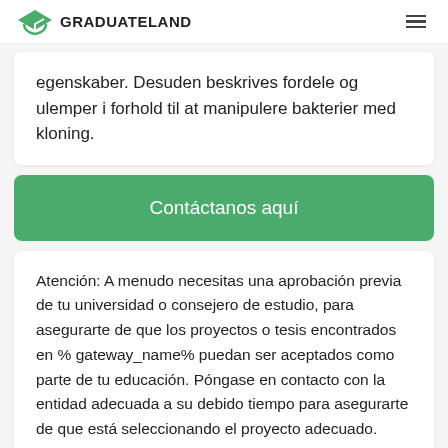GRADUATELAND
egenskaber. Desuden beskrives fordele og ulemper i forhold til at manipulere bakterier med kloning.
Contáctanos aquí
Atención: A menudo necesitas una aprobación previa de tu universidad o consejero de estudio, para asegurarte de que los proyectos o tesis encontrados en % gateway_name% puedan ser aceptados como parte de tu educación. Póngase en contacto con la entidad adecuada a su debido tiempo para asegurarte de que está seleccionando el proyecto adecuado.